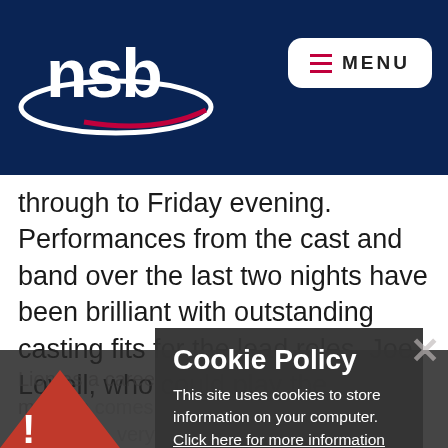[Figure (logo): NSB school logo: white text 'nsb' with swooping underline in dark navy header]
through to Friday evening. Performances from the cast and band over the last two nights have been brilliant with outstanding casting fits for the lead roles. Joe Lovell, who could play the
Lion as a career position, deserves a special mention... comes down on Friday... deserves attention... very d... ase... playing... final on Sund...
Cookie Policy
This site uses cookies to store information on your computer. Click here for more information
Allow Cookies
Deny Cookies